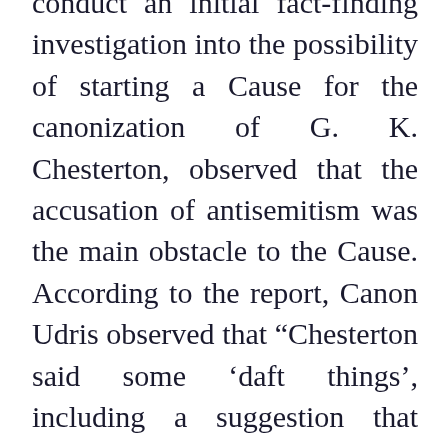conduct an initial fact-finding investigation into the possibility of starting a Cause for the canonization of G. K. Chesterton, observed that the accusation of antisemitism was the main obstacle to the Cause. According to the report, Canon Udris observed that “Chesterton said some ‘daft things’, including a suggestion that Jewish people should wear distinctive dress to indicate they were outsiders.” He concluded that: “You can understand why people make the assumption that he is anti-Semitic. But I would want to make the opposite case.” Mark Greaves, “G K Chesterton ‘breaks mould of conventional holiness’, says Cause investigator,” Catholic Herald (online), 3 March 2014.

The most notable instance of this “daft” suggestion – “quaint” but “quite serious” according to Chesterton – can be found in The New Jerusalem (1920). Chesterton